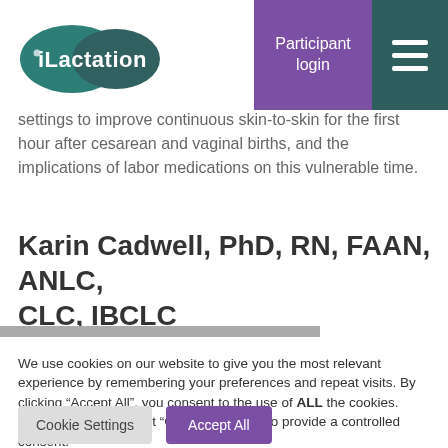iLactation | Participant login
settings to improve continuous skin-to-skin for the first hour after cesarean and vaginal births, and the implications of labor medications on this vulnerable time.
Karin Cadwell, PhD, RN, FAAN, ANLC, CLC, IBCLC
We use cookies on our website to give you the most relevant experience by remembering your preferences and repeat visits. By clicking "Accept All", you consent to the use of ALL the cookies. However, you may visit "Cookie Settings" to provide a controlled consent.
Cookie Settings | Accept All